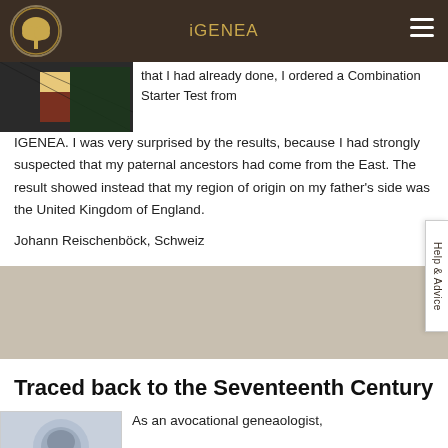iGENEA
that I had already done, I ordered a Combination Starter Test from IGENEA. I was very surprised by the results, because I had strongly suspected that my paternal ancestors had come from the East. The result showed instead that my region of origin on my father's side was the United Kingdom of England.
Johann Reischenböck, Schweiz
Traced back to the Seventeenth Century
As an avocational geneaologist,